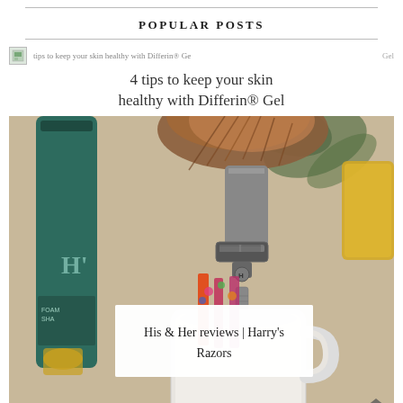POPULAR POSTS
4 tips to keep your skin healthy with Differin® Gel
[Figure (photo): Photo of shaving items: a razor, shaving brush with brown bristles, a dark teal foam shaving bottle, and colorful items in a white ceramic mug. Text overlay reads: His & Her reviews | Harry's Razors. Arrow button at bottom right.]
His & Her reviews | Harry's Razors